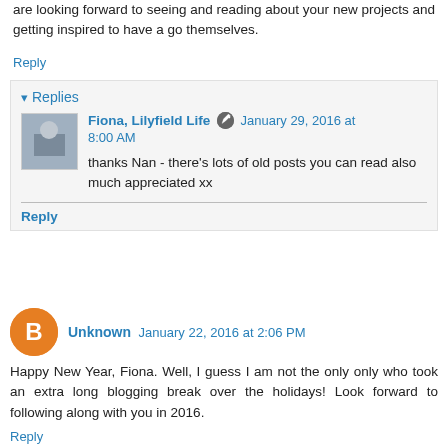are looking forward to seeing and reading about your new projects and getting inspired to have a go themselves.
Reply
Replies
Fiona, Lilyfield Life  January 29, 2016 at 8:00 AM
thanks Nan - there's lots of old posts you can read also
much appreciated xx
Reply
Unknown  January 22, 2016 at 2:06 PM
Happy New Year, Fiona. Well, I guess I am not the only only who took an extra long blogging break over the holidays! Look forward to following along with you in 2016.
Reply